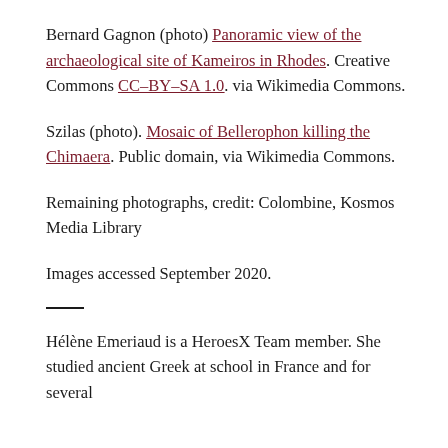Bernard Gagnon (photo) Panoramic view of the archaeological site of Kameiros in Rhodes. Creative Commons CC–BY–SA 1.0. via Wikimedia Commons.
Szilas (photo). Mosaic of Bellerophon killing the Chimaera. Public domain, via Wikimedia Commons.
Remaining photographs, credit: Colombine, Kosmos Media Library
Images accessed September 2020.
Hélène Emeriaud is a HeroesX Team member. She studied ancient Greek at school in France and for several